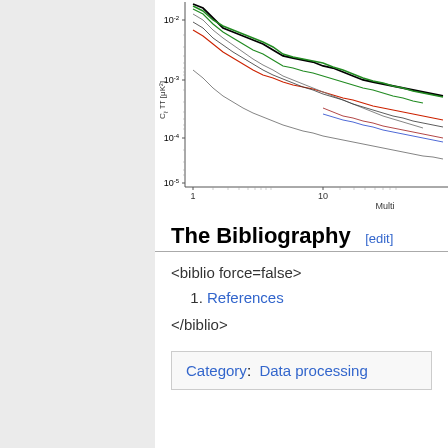[Figure (continuous-plot): Partial view of a log-log power spectrum plot showing C_l^TT [μK²] on the y-axis (ranging from 10^-5 to 10^-2) vs Multipole (x-axis, 1 to ~30+). Multiple overlapping lines in black, green, red, and gray show varying power spectra.]
The Bibliography [edit]
<biblio force=false>
1. References
</biblio>
Category:  Data processing